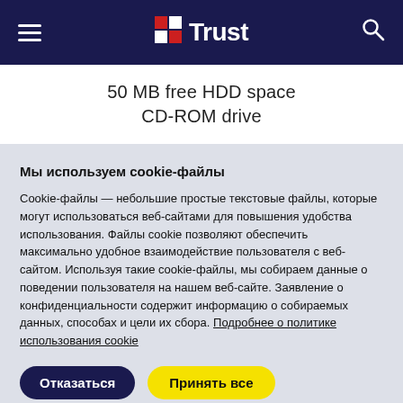Trust — navigation bar with hamburger menu, Trust logo, and search icon
50 MB free HDD space
CD-ROM drive
Мы используем cookie-файлы
Cookie-файлы — небольшие простые текстовые файлы, которые могут использоваться веб-сайтами для повышения удобства использования. Файлы cookie позволяют обеспечить максимально удобное взаимодействие пользователя с веб-сайтом. Используя такие cookie-файлы, мы собираем данные о поведении пользователя на нашем веб-сайте. Заявление о конфиденциальности содержит информацию о собираемых данных, способах и цели их сбора. Подробнее о политике использования cookie
Отказаться | Принять все
Настройки файлов cookie